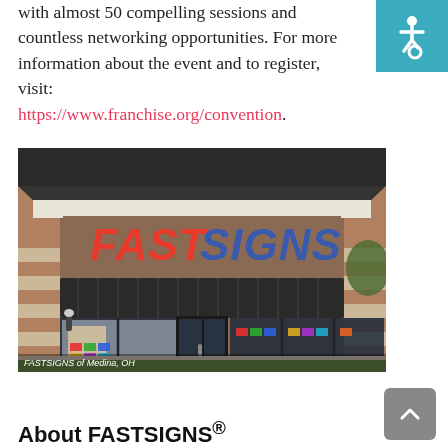with almost 50 compelling sessions and countless networking opportunities. For more information about the event and to register, visit: https://www.franchise.org/convention.
[Figure (photo): Exterior photo of a FASTSIGNS retail store location (FASTSIGNS of Medina, OH). The storefront features a brick building with a dark metal roof, a black awning over the windows, and a large FASTSIGNS sign in red and blue lettering on the facade. Display graphics are visible in the windows.]
About FASTSIGNS®